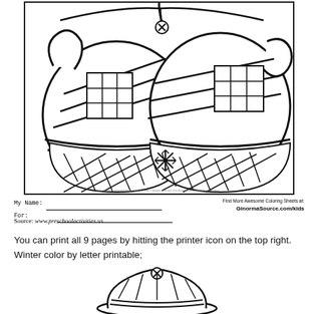[Figure (illustration): Coloring page showing two decorated winter mittens with cross-hatch patterns, diagonal stripes, and a snowflake between them. A small 'x' button at the top. Black and white line art for children to color.]
My Name: ___________________________________
For: ___________________________________
Find More Awesome Coloring Sheets at:
GinormaSource.com/kids
Source: www.preschoolactivities.us
You can print all 9 pages by hitting the printer icon on the top right. Winter color by letter printable;
[Figure (illustration): Partial coloring page showing the top of a winter hat with an 'x' button and decorative pattern, black and white line art, cropped at bottom of page.]